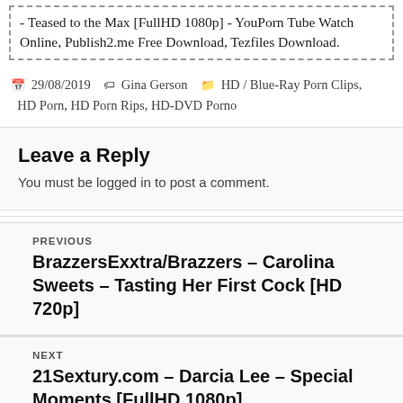- Teased to the Max [FullHD 1080p] - YouPorn Tube Watch Online, Publish2.me Free Download, Tezfiles Download.
29/08/2019  Gina Gerson  HD / Blue-Ray Porn Clips, HD Porn, HD Porn Rips, HD-DVD Porno
Leave a Reply
You must be logged in to post a comment.
PREVIOUS
BrazzersExxtra/Brazzers – Carolina Sweets – Tasting Her First Cock [HD 720p]
NEXT
21Sextury.com – Darcia Lee – Special Moments [FullHD 1080p]